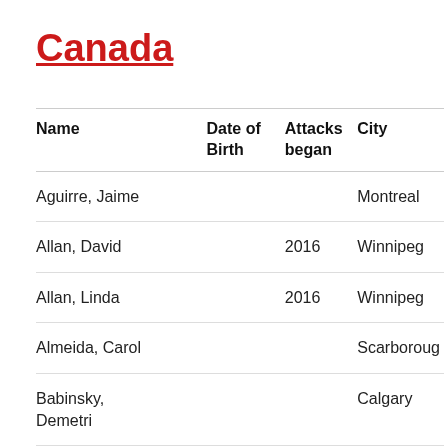Canada
| Name | Date of Birth | Attacks began | City |
| --- | --- | --- | --- |
| Aguirre, Jaime |  |  | Montreal |
| Allan, David |  | 2016 | Winnipeg |
| Allan, Linda |  | 2016 | Winnipeg |
| Almeida, Carol |  |  | Scarboroug |
| Babinsky, Demetri |  |  | Calgary |
| Balatbat, |  |  | North York |